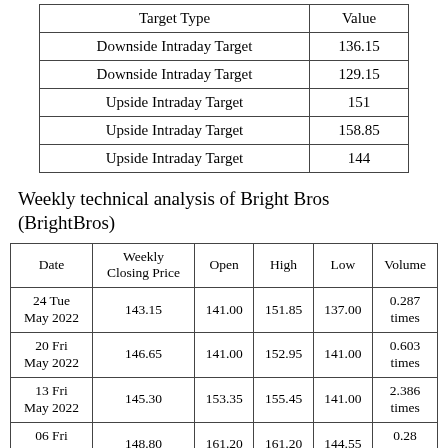| Target Type | Value |
| --- | --- |
| Downside Intraday Target | 136.15 |
| Downside Intraday Target | 129.15 |
| Upside Intraday Target | 151 |
| Upside Intraday Target | 158.85 |
| Upside Intraday Target | 144 |
Weekly technical analysis of Bright Bros (BrightBros)
| Date | Weekly Closing Price | Open | High | Low | Volume |
| --- | --- | --- | --- | --- | --- |
| 24 Tue May 2022 | 143.15 | 141.00 | 151.85 | 137.00 | 0.287 times |
| 20 Fri May 2022 | 146.65 | 141.00 | 152.95 | 141.00 | 0.603 times |
| 13 Fri May 2022 | 145.30 | 153.35 | 155.45 | 141.00 | 2.386 times |
| 06 Fri May 2022 | 148.80 | 161.20 | 161.20 | 144.55 | 0.28 times |
| 29 Fri Apr |  |  |  |  | 0.005 |